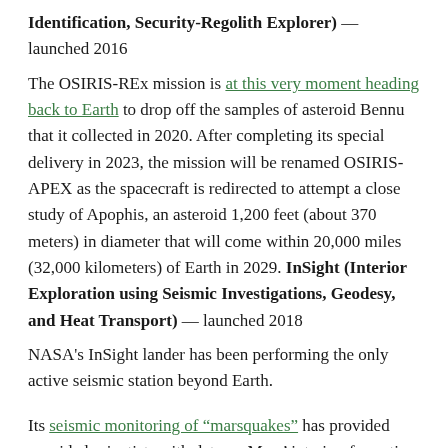Identification, Security-Regolith Explorer) — launched 2016
The OSIRIS-REx mission is at this very moment heading back to Earth to drop off the samples of asteroid Bennu that it collected in 2020. After completing its special delivery in 2023, the mission will be renamed OSIRIS-APEX as the spacecraft is redirected to attempt a close study of Apophis, an asteroid 1,200 feet (about 370 meters) in diameter that will come within 20,000 miles (32,000 kilometers) of Earth in 2029. InSight (Interior Exploration using Seismic Investigations, Geodesy, and Heat Transport) — launched 2018
NASA's InSight lander has been performing the only active seismic station beyond Earth.
Its seismic monitoring of "marsquakes" has provided provided scientists with data on Mars' interior, formation